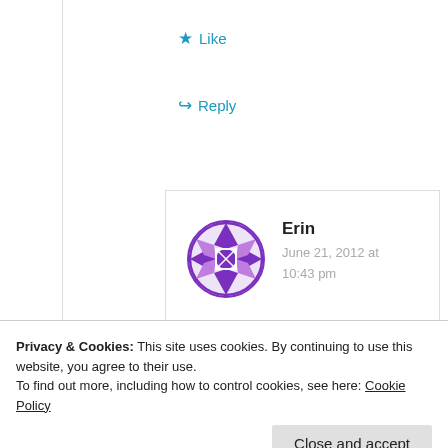★ Like
↪ Reply
[Figure (illustration): Purple geometric/quilt pattern avatar icon for user Erin]
Erin
June 21, 2012 at 10:43 pm
Exactly Tom. As long as
Privacy & Cookies: This site uses cookies. By continuing to use this website, you agree to their use.
To find out more, including how to control cookies, see here: Cookie Policy
Close and accept
few that have the exact